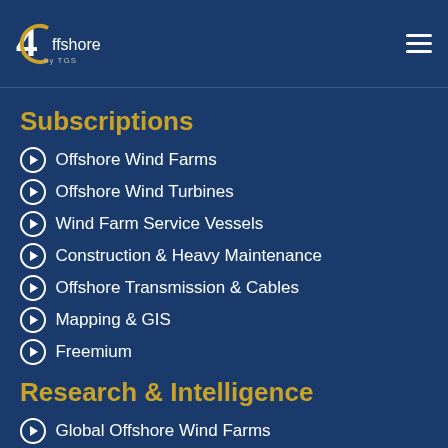4C Offshore by TGS
Subscriptions
Offshore Wind Farms
Offshore Wind Turbines
Wind Farm Service Vessels
Construction & Heavy Maintenance
Offshore Transmission & Cables
Mapping & GIS
Freemium
Research & Intelligence
Global Offshore Wind Farms